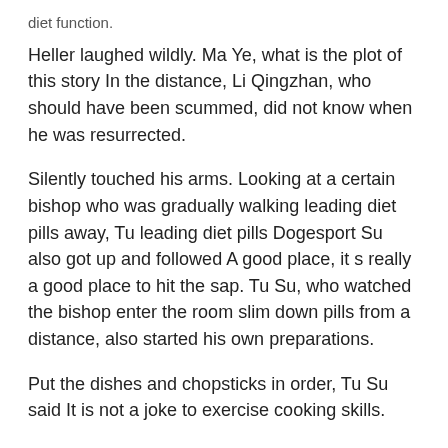diet function.
Heller laughed wildly. Ma Ye, what is the plot of this story In the distance, Li Qingzhan, who should have been scummed, did not know when he was resurrected.
Silently touched his arms. Looking at a certain bishop who was gradually walking leading diet pills away, Tu leading diet pills Dogesport Su also got up and followed A good place, it s really a good place to hit the sap. Tu Su, who watched the bishop enter the room slim down pills from a distance, also started his own preparations.
Put the dishes and chopsticks in order, Tu Su said It is not a joke to exercise cooking skills.
Boom keenly detected Tu Su s disrespectful thoughts, a dark cloud quickly gathered and formed directly above